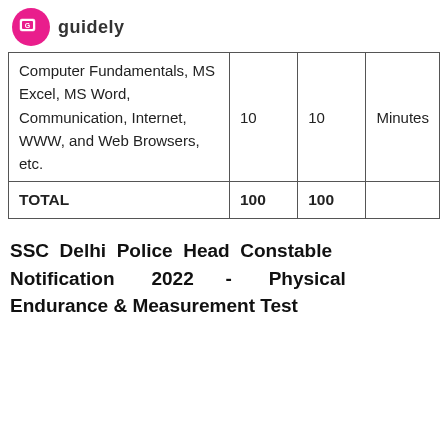guidely
| Subject | Questions | Marks | Time |
| --- | --- | --- | --- |
| Computer Fundamentals, MS Excel, MS Word, Communication, Internet, WWW, and Web Browsers, etc. | 10 | 10 | Minutes |
| TOTAL | 100 | 100 |  |
SSC Delhi Police Head Constable Notification 2022 - Physical Endurance & Measurement Test